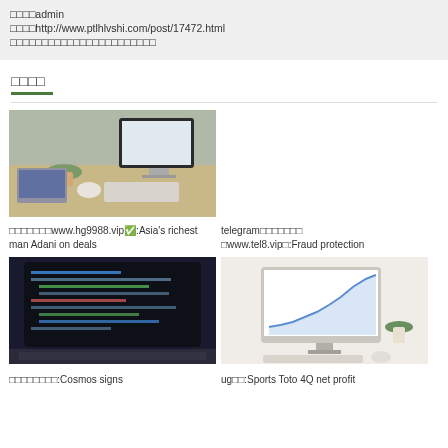作者：admin
链接：http://www.ptlhlvshi.com/post/17472.html
版权声明：本博客所有文章除特别声明外
相关推荐
[Figure (photo): Desktop workspace with iMac, plant, keyboard and mouse on wooden desk]
皇冠信用网www.hg9988.vip✅:Asia's richest man Adani on deals
telegram中文版下载✅www.tel8.vip✅:Fraud protection
[Figure (photo): Dark laptop with code on screen, close-up view]
[Figure (photo): iMac with analytics chart on screen, plants and accessories on white desk]
皇冠体育网站:Cosmos signs
ug代理:Sports Toto 4Q net profit